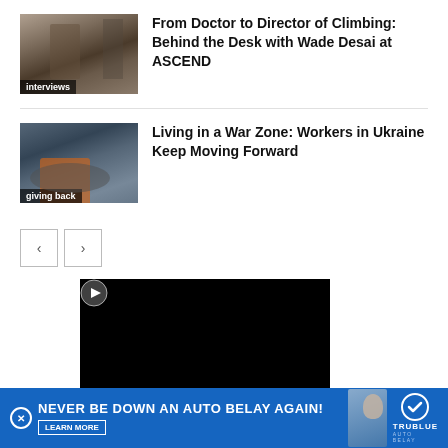[Figure (photo): Indoor climbing gym photo with label 'interviews']
From Doctor to Director of Climbing: Behind the Desk with Wade Desai at ASCEND
[Figure (photo): Building fire/smoke scene photo with label 'giving back']
Living in a War Zone: Workers in Ukraine Keep Moving Forward
[Figure (other): Navigation previous/next arrow buttons]
[Figure (screenshot): Black video player area]
[Figure (other): Advertisement banner: NEVER BE DOWN AN AUTO BELAY AGAIN! LEARN MORE - TruBlue Auto Belay]